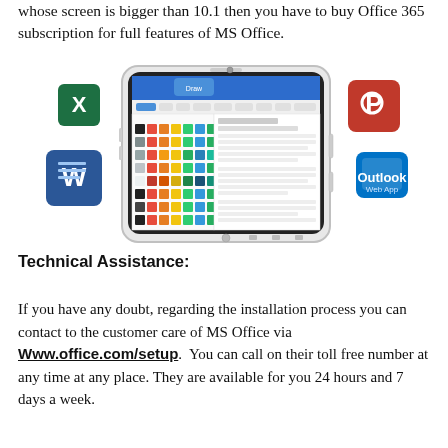whose screen is bigger than 10.1 then you have to buy Office 365 subscription for full features of MS Office.
[Figure (illustration): A Samsung tablet displaying MS Office Word with a color theme palette open, flanked by Microsoft Excel (green X), Word (blue W), PowerPoint (red P), and Outlook (blue envelope) app icons.]
Technical Assistance:
If you have any doubt, regarding the installation process you can contact to the customer care of MS Office via Www.office.com/setup. You can call on their toll free number at any time at any place. They are available for you 24 hours and 7 days a week.